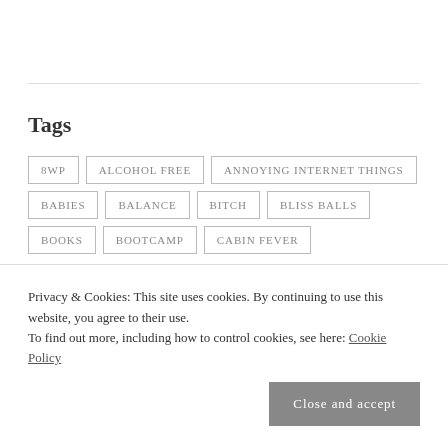Tags
8WP
ALCOHOL FREE
ANNOYING INTERNET THINGS
BABIES
BALANCE
BITCH
BLISS BALLS
BOOKS
BOOTCAMP
CABIN FEVER
Privacy & Cookies: This site uses cookies. By continuing to use this website, you agree to their use.
To find out more, including how to control cookies, see here: Cookie Policy
Close and accept